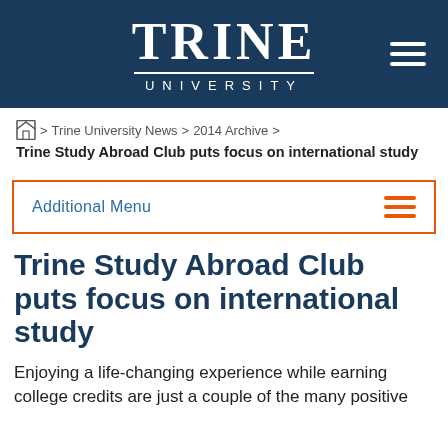[Figure (logo): Trine University logo — white serif TRINE text with UNIVERSITY below, on dark navy background, with hamburger menu icon top right]
🏠 > Trine University News > 2014 Archive > Trine Study Abroad Club puts focus on international study
Additional Menu
Trine Study Abroad Club puts focus on international study
Enjoying a life-changing experience while earning college credits are just a couple of the many positive